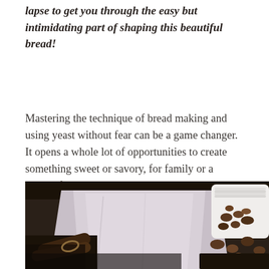lapse to get you through the easy but intimidating part of shaping this beautiful bread!
Mastering the technique of bread making and using yeast without fear can be a game changer. It opens a whole lot of opportunities to create something sweet or savory, for family or a crowd, for storing or consuming piping hot.
[Figure (photo): A close-up photo of bread shaping setup on a dark surface. A pale lavender/grey cloth or parchment is in the center, with dark wooden rolling pins or utensils in the foreground left, and a white ceramic container with nuts or seeds on the right side.]